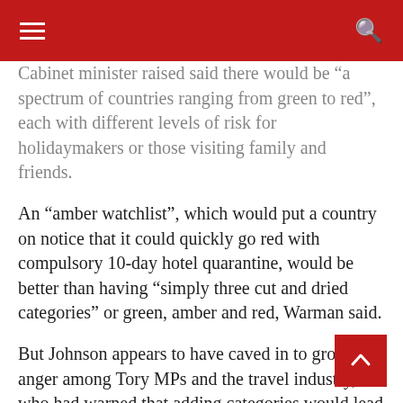Navigation header bar with menu and search icons
Cabinet minister raised said there would be “a spectrum of countries ranging from green to red”, each with different levels of risk for holidaymakers or those visiting family and friends.
An “amber watchlist”, which would put a country on notice that it could quickly go red with compulsory 10-day hotel quarantine, would be better than having “simply three cut and dried categories” or green, amber and red, Warman said.
But Johnson appears to have caved in to growing anger among Tory MPs and the travel industry, who had warned that adding categories would lead to further confusion and costs for those planning abroad.